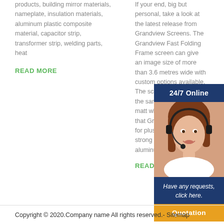products, building mirror materials, nameplate, insulation materials, aluminum plastic composite material, capacitor strip, transformer strip, welding parts, heat
READ MORE
If your end, big but personal, take a look at the latest release from Grandview Screens. The Grandview Fast Folding Frame screen can give an image size of more than 3.6 metres wide with custom options available. The screen material is the same high quality matt white acoustic PVC that Grandview is known for plus the frame is strong but lightweight aluminum.
READ MORE
[Figure (illustration): 24/7 Online support widget with dark blue header, photo of a smiling woman with headset, dark blue text area saying 'Have any requests, click here.' and an orange Quotation button]
Copyright © 2020.Company name All rights reserved.- Sitemap